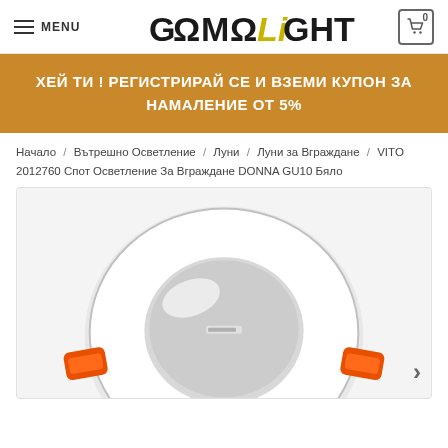MENU | GAMALIGHT logo | Cart 0
ХЕЙ ТИ ! РЕГИСТРИРАЙ СЕ И ВЗЕМИ КУПОН ЗА НАМАЛЕНИЕ ОТ 5%
Начало / Вътрешно Осветление / Луни / Луни за Вграждане / VITO 2012760 Спот Осветление За Вграждане DONNA GU10 Бяло
[Figure (photo): Product photo of VITO 2012760 DONNA GU10 recessed spot light fixture in white color with orange mounting clips, viewed from above at an angle on a white background.]